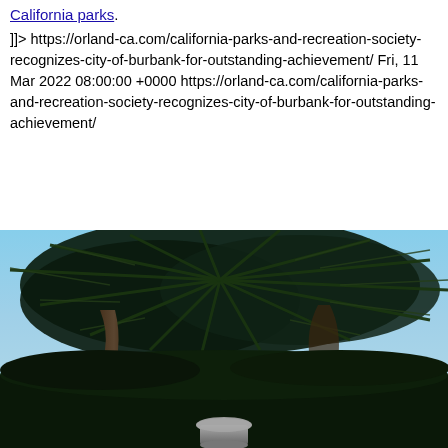California parks.
]]> https://orland-ca.com/california-parks-and-recreation-society-recognizes-city-of-burbank-for-outstanding-achievement/ Fri, 11 Mar 2022 08:00:00 +0000 https://orland-ca.com/california-parks-and-recreation-society-recognizes-city-of-burbank-for-outstanding-achievement/
[Figure (photo): Photo taken from below looking up at palm trees against a blue sky, with a decorative urn or planter visible at the bottom center of the image.]